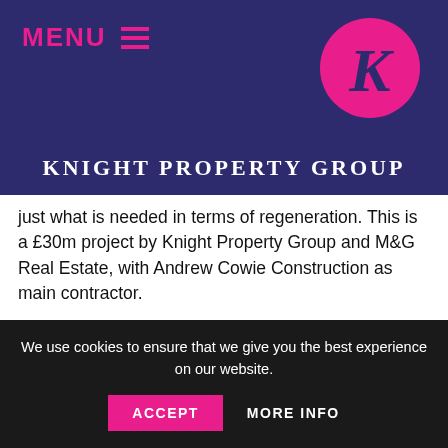MENU  Knight Property Group
just what is needed in terms of regeneration. This is a £30m project by Knight Property Group and M&G Real Estate, with Andrew Cowie Construction as main contractor.
Knight managing director James Barrack said: “At the heart of the Capitol redevelopment is a desire to bring new life to an iconic but derelict building.
“Incorporating the old with the new, we have worked
We use cookies to ensure that we give you the best experience on our website.  ACCEPT  MORE INFO